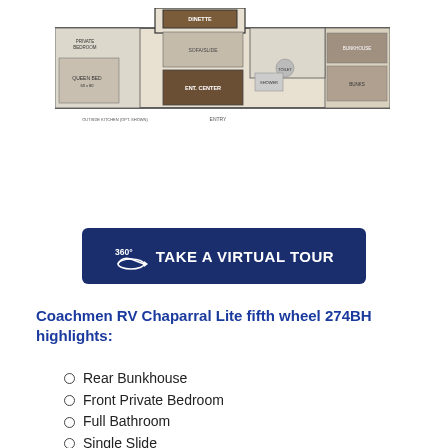[Figure (engineering-diagram): Floor plan of Coachmen RV Chaparral Lite fifth wheel 274BH showing rear bunkhouse, bathroom, kitchen, living area, and front private bedroom with slide]
[Figure (other): Dark navy blue button with 360 degree icon and text TAKE A VIRTUAL TOUR]
Coachmen RV Chaparral Lite fifth wheel 274BH highlights:
Rear Bunkhouse
Front Private Bedroom
Full Bathroom
Single Slide